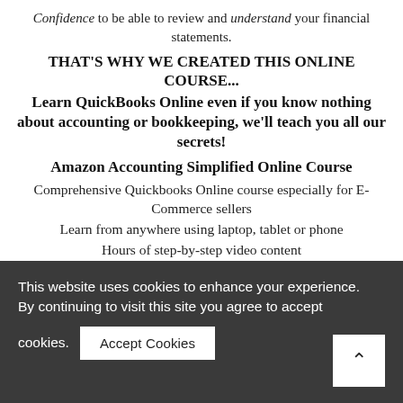Confidence to be able to review and understand your financial statements.
THAT'S WHY WE CREATED THIS ONLINE COURSE...
Learn QuickBooks Online even if you know nothing about accounting or bookkeeping, we'll teach you all our secrets!
Amazon Accounting Simplified Online Course
Comprehensive Quickbooks Online course especially for E-Commerce sellers
Learn from anywhere using laptop, tablet or phone
Hours of step-by-step video content
Done-for-you Excel templates and downloadable reference sheets
Learn how to confidently set up and manage your books
This website uses cookies to enhance your experience. By continuing to visit this site you agree to accept cookies.